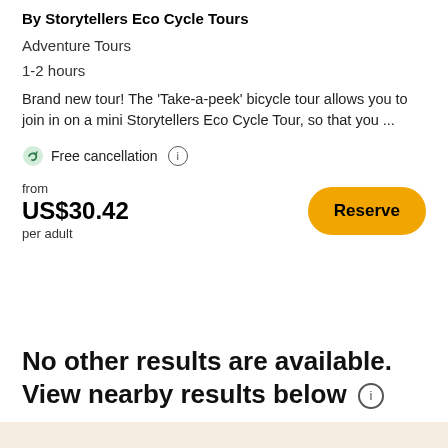By Storytellers Eco Cycle Tours
Adventure Tours
1-2 hours
Brand new tour! The 'Take-a-peek' bicycle tour allows you to join in on a mini Storytellers Eco Cycle Tour, so that you ...
Free cancellation
from US$30.42 per adult
Reserve
No other results are available. View nearby results below